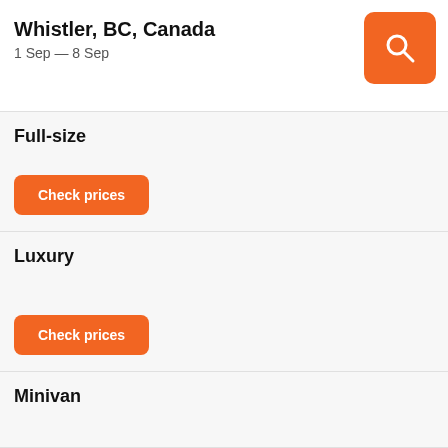Whistler, BC, Canada
1 Sep — 8 Sep
Full-size
Check prices
Luxury
Check prices
Minivan
Check prices